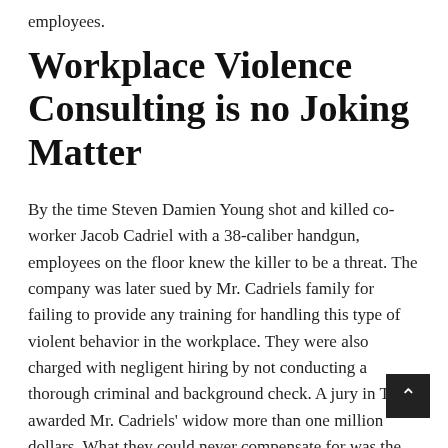employees.
Workplace Violence Consulting is no Joking Matter
By the time Steven Damien Young shot and killed co-worker Jacob Cadriel with a 38-caliber handgun, employees on the floor knew the killer to be a threat. The company was later sued by Mr. Cadriels family for failing to provide any training for handling this type of violent behavior in the workplace. They were also charged with negligent hiring by not conducting a thorough criminal and background check. A jury in Texas awarded Mr. Cadriels' widow more than one million dollars. What they could never compensate for was the loss of a father to a five-year-old little boy. This kind of story could have